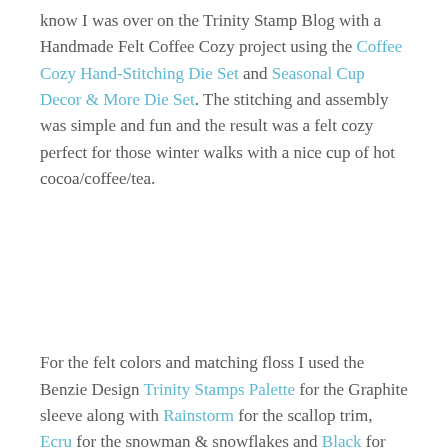know I was over on the Trinity Stamp Blog with a Handmade Felt Coffee Cozy project using the Coffee Cozy Hand-Stitching Die Set and Seasonal Cup Decor & More Die Set. The stitching and assembly was simple and fun and the result was a felt cozy perfect for those winter walks with a nice cup of hot cocoa/coffee/tea.
For the felt colors and matching floss I used the Benzie Design Trinity Stamps Palette for the Graphite sleeve along with Rainstorm for the scallop trim, Ecru for the snowman & snowflakes and Black for the top hat. The Wool Blend felt from Benzie Designs works perfectly with